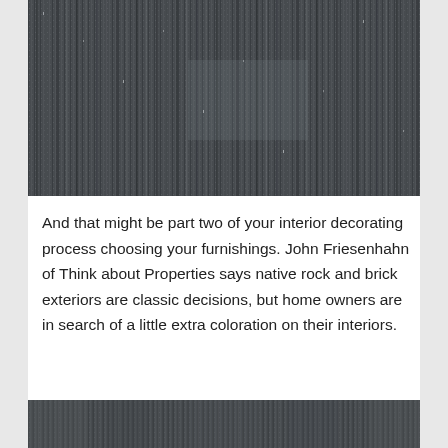[Figure (photo): Close-up texture of dark gray/charcoal woven fabric or carpet with vertical striped pattern and subtle light flecks]
And that might be part two of your interior decorating process choosing your furnishings. John Friesenhahn of Think about Properties says native rock and brick exteriors are classic decisions, but home owners are in search of a little extra coloration on their interiors.
[Figure (photo): Close-up texture of dark gray/charcoal woven fabric or carpet with mottled pattern, similar to the top image but with slightly different texture]